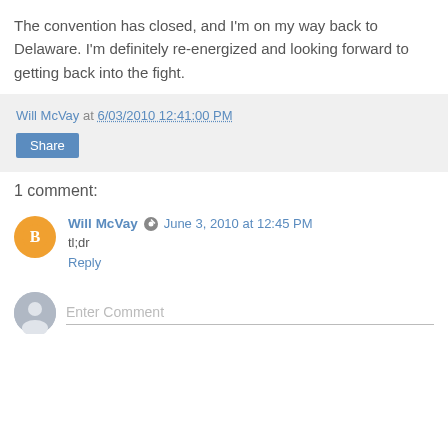The convention has closed, and I'm on my way back to Delaware. I'm definitely re-energized and looking forward to getting back into the fight.
Will McVay at 6/03/2010 12:41:00 PM
Share
1 comment:
Will McVay  June 3, 2010 at 12:45 PM
tl;dr
Reply
Enter Comment